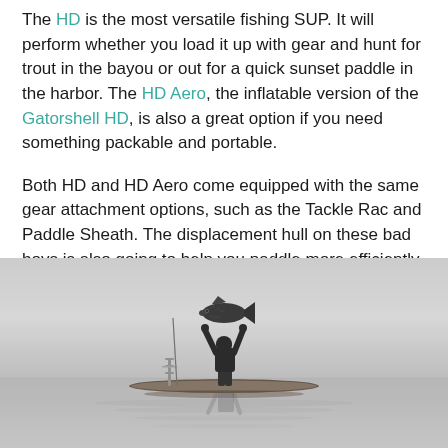The HD is the most versatile fishing SUP. It will perform whether you load it up with gear and hunt for trout in the bayou or out for a quick sunset paddle in the harbor. The HD Aero, the inflatable version of the Gatorshell HD, is also a great option if you need something packable and portable.
Both HD and HD Aero come equipped with the same gear attachment options, such as the Tackle Rac and Paddle Sheath. The displacement hull on these bad boys is also going to help you paddle more efficiently so you can save energy and fish longer.
[Figure (photo): Black and white photograph of a person standing on a fishing SUP (stand-up paddleboard) on calm water, holding a large fish (bass) raised above their head with both arms. A fishing rod holder/rack is visible on the board. The scene is misty and the water reflects the paddleboard.]